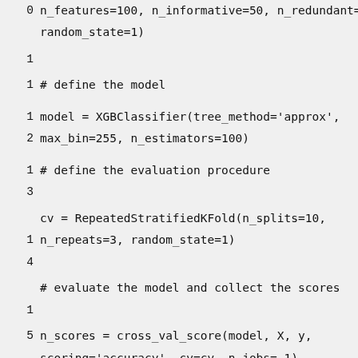n_features=100, n_informative=50, n_redundant=50, random_state=1)
# define the model
model = XGBClassifier(tree_method='approx', max_bin=255, n_estimators=100)
# define the evaluation procedure
cv = RepeatedStratifiedKFold(n_splits=10, n_repeats=3, random_state=1)
# evaluate the model and collect the scores
n_scores = cross_val_score(model, X, y, scoring='accuracy', cv=cv, n_jobs=-1)
# report performance
print('Accuracy: %.3f (%.3f)' % (mean(n_scores), std(n_scores)))